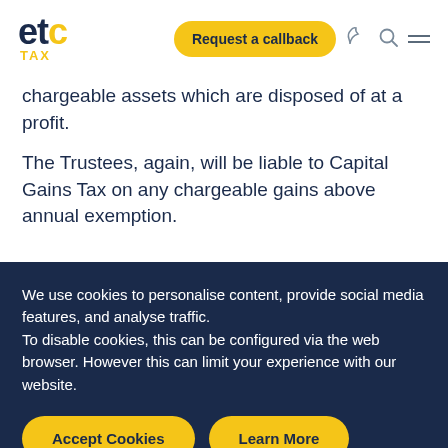etc TAX — Request a callback
chargeable assets which are disposed of at a profit.
The Trustees, again, will be liable to Capital Gains Tax on any chargeable gains above annual exemption.
We use cookies to personalise content, provide social media features, and analyse traffic. To disable cookies, this can be configured via the web browser. However this can limit your experience with our website.
Accept Cookies
Learn More